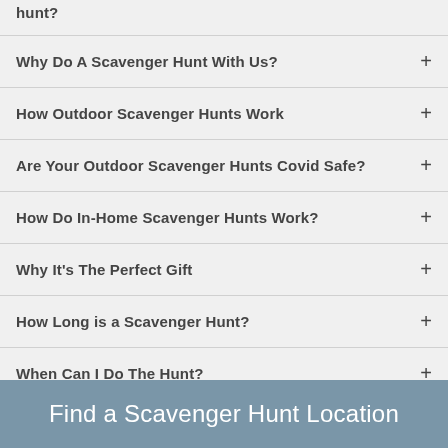hunt?
Why Do A Scavenger Hunt With Us?
How Outdoor Scavenger Hunts Work
Are Your Outdoor Scavenger Hunts Covid Safe?
How Do In-Home Scavenger Hunts Work?
Why It's The Perfect Gift
How Long is a Scavenger Hunt?
When Can I Do The Hunt?
Does everyone need an interactive role?
Find a Scavenger Hunt Location